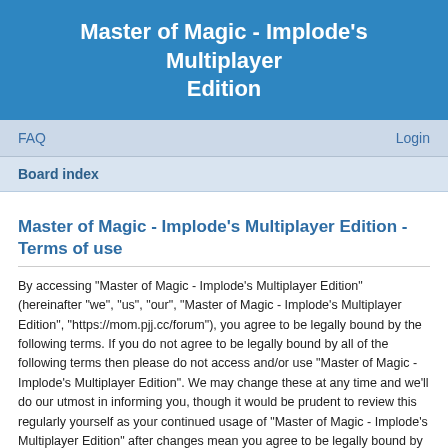Master of Magic - Implode's Multiplayer Edition
FAQ    Login
Board index
Master of Magic - Implode's Multiplayer Edition - Terms of use
By accessing “Master of Magic - Implode’s Multiplayer Edition” (hereinafter “we”, “us”, “our”, “Master of Magic - Implode’s Multiplayer Edition”, “https://mom.pjj.cc/forum”), you agree to be legally bound by the following terms. If you do not agree to be legally bound by all of the following terms then please do not access and/or use “Master of Magic - Implode’s Multiplayer Edition”. We may change these at any time and we’ll do our utmost in informing you, though it would be prudent to review this regularly yourself as your continued usage of “Master of Magic - Implode’s Multiplayer Edition” after changes mean you agree to be legally bound by these terms as they are updated and/or amended.
Our forums are powered by phpBB (hereinafter “they”, “them”, “their”, “phpBB software”, “www.phpbb.com”, “phpBB Limited”, “phpBB Teams”) which is a bulletin board solution released under the “GNU General Public License v2” (hereinafter “GPL”) and can be downloaded from www.phpbb.com. The phpBB software only facilitates internet based discussions; phpBB Limited is not